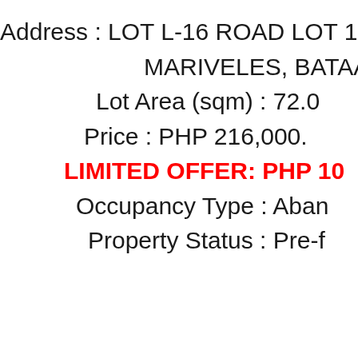Address : LOT L-16 ROAD LOT 1 MT. VIEW RES MARIVELES, BATAA Lot Area (sqm) : 72.0 Price : PHP 216,000. LIMITED OFFER: PHP 10 Occupancy Type : Abano Property Status : Pre-f